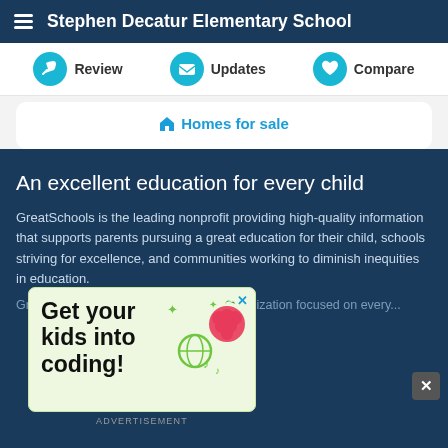Stephen Decatur Elementary School
Review  Updates  Compare
🏠 Homes for sale
An excellent education for every child
GreatSchools is the leading nonprofit providing high-quality information that supports parents pursuing a great education for their child, schools striving for excellence, and communities working to diminish inequities in education.
GreatSchools is a 501(c)(3) nonprofit organization focused on...
[Figure (infographic): Advertisement: Get your kids into coding! with raspberry pi logo, globe icon, sparkles and music notes on light green background]